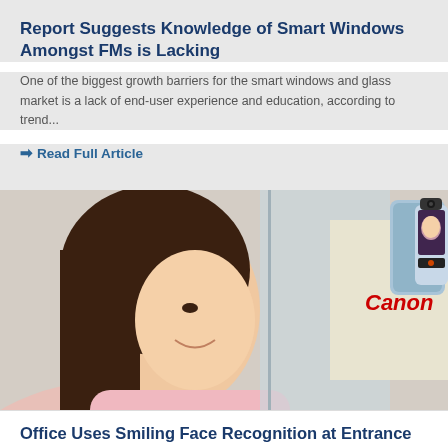Report Suggests Knowledge of Smart Windows Amongst FMs is Lacking
One of the biggest growth barriers for the smart windows and glass market is a lack of end-user experience and education, according to trend...
Read Full Article
[Figure (photo): Woman smiling and looking at a Canon-branded face recognition device mounted on a wall at an office entrance]
Office Uses Smiling Face Recognition at Entrance